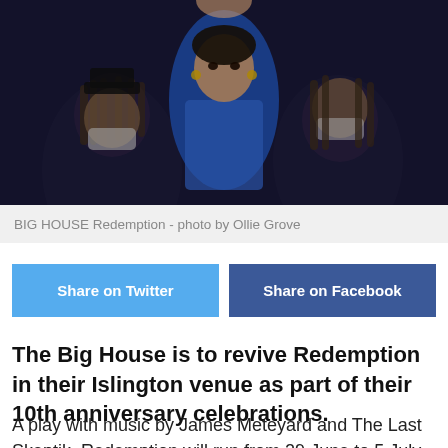[Figure (photo): Three people posed in a dark setting. The central figure wears a blue outfit, the left and right figures wear face coverings/masks. Dark moody lighting.]
BIG HOUSE Redemption - photo by Ollie Grove
Share on Twitter
Share on Facebook
The Big House is to revive Redemption in their Islington venue as part of their 10th anniversary celebrations.
A play with music by James Meteyard and The Last Skeptik. Redemption will run from 29 June to 5 July